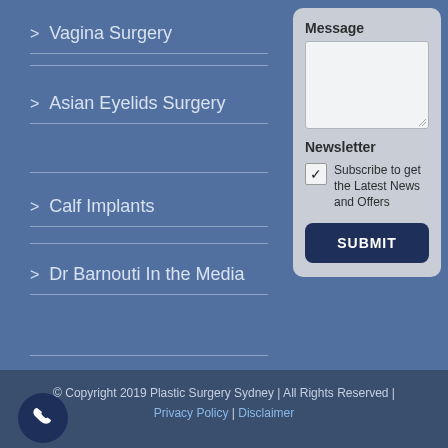> Vagina Surgery
> Asian Eyelids Surgery
> Calf Implants
> Dr Barnouti In the Media
Message
Newsletter
Subscribe to get the Latest News and Offers
SUBMIT
© Copyright 2019 Plastic Surgery Sydney | All Rights Reserved | Privacy Policy | Disclaimer